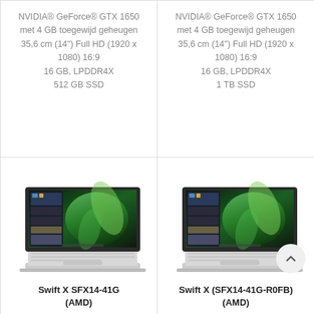NVIDIA® GeForce® GTX 1650 met 4 GB toegewijd geheugen 35,6 cm (14") Full HD (1920 x 1080) 16:9 16 GB, LPDDR4X 512 GB SSD
NVIDIA® GeForce® GTX 1650 met 4 GB toegewijd geheugen 35,6 cm (14") Full HD (1920 x 1080) 16:9 16 GB, LPDDR4X 1 TB SSD
[Figure (photo): Acer Swift X SFX14-41G laptop open showing green abstract wallpaper on screen, silver body]
Swift X SFX14-41G
(AMD)
[Figure (photo): Acer Swift X SFX14-41G-R0FB laptop open showing green abstract wallpaper on screen, silver body]
Swift X (SFX14-41G-R0FB)
(AMD)